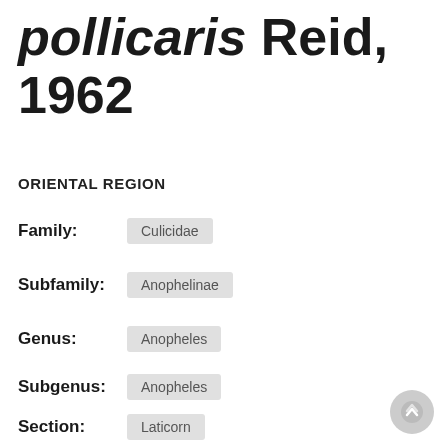pollicaris Reid, 1962
ORIENTAL REGION
Family: Culicidae
Subfamily: Anophelinae
Genus: Anopheles
Subgenus: Anopheles
Section: Laticorn
Series: Myzorhynchus